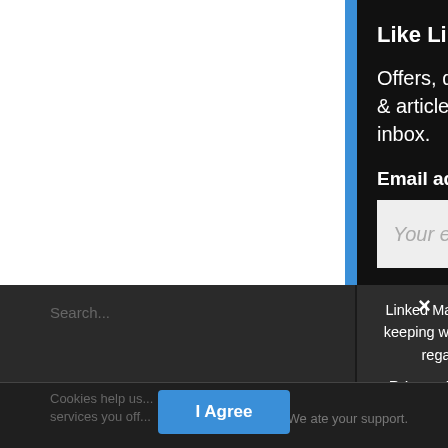Like Linked Magazine?
Offers, discounts, competitions, events & articles delivered straight to your inbox.
Email address:
[Figure (screenshot): Email address input field with placeholder text 'Your email address']
Linked Magazine takes your privacy seriously, and in keeping with European GDPR rulings, we offer clarity regarding any information shared with us.
› Privacy Preferences
I Agree
Cookies help us... We appreciate your support. services you off...